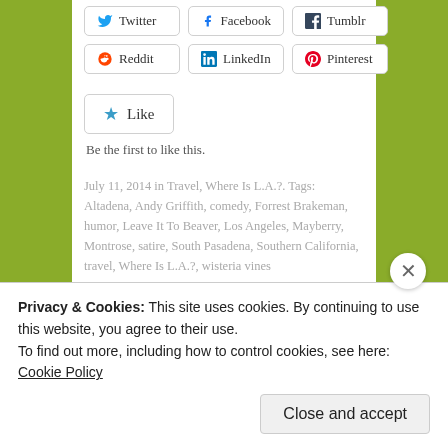Twitter, Facebook, Tumblr (social share buttons)
Reddit, LinkedIn, Pinterest (social share buttons)
Like
Be the first to like this.
July 11, 2014 in Travel, Where Is L.A.?. Tags: Altadena, Andy Griffith, comedy, Forrest Brakeman, humor, Leave It To Beaver, Los Angeles, Mayberry, Montrose, satire, South Pasadena, Southern California, travel, Where Is L.A.?, wisteria vines
Related posts
Trendy, Trendy Culver City
Privacy & Cookies: This site uses cookies. By continuing to use this website, you agree to their use.
To find out more, including how to control cookies, see here: Cookie Policy
Close and accept